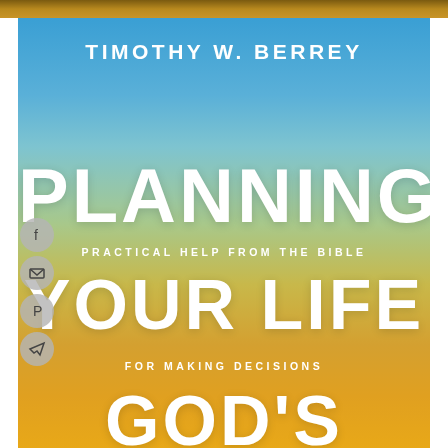[Figure (illustration): Book cover for 'Planning Your Life God's Way' by Timothy W. Berrey. The background shows a gradient sky transitioning from blue at the top to golden yellow/sand at the bottom, suggesting a horizon. The cover features large white bold text with the title split across three lines: PLANNING, YOUR LIFE, and GOD'S WAY (partially visible), with subtitles 'PRACTICAL HELP FROM THE BIBLE' and 'FOR MAKING DECISIONS'. The author's name 'TIMOTHY W. BERREY' appears at the top. Social media icons (Facebook, email, Pinterest, Telegram) are visible on the left edge.]
TIMOTHY W. BERREY
PLANNING YOUR LIFE GOD'S WAY
PRACTICAL HELP FROM THE BIBLE
FOR MAKING DECISIONS